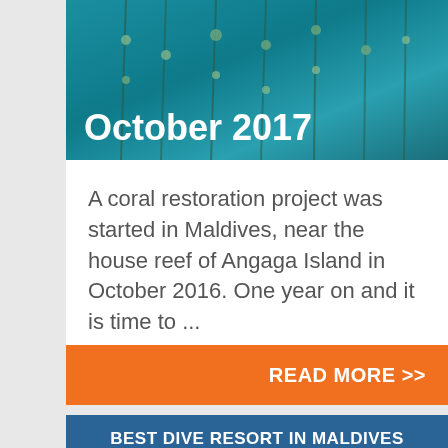[Figure (photo): Underwater photo of coral restoration project with coral growing on ropes/chains against a blue-green ocean background]
October 2017
A coral restoration project was started in Maldives, near the house reef of Angaga Island in October 2016. One year on and it is time to ...
READ MORE >>
BEST DIVE RESORT IN MALDIVES
[Figure (photo): People at what appears to be an awards ceremony or stage event with stage lighting]